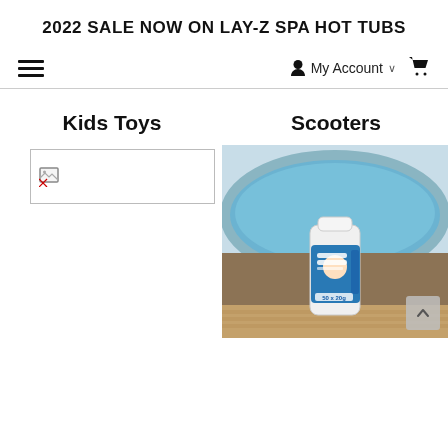2022 SALE NOW ON LAY-Z SPA HOT TUBS
≡   My Account ∨   🛒
Kids Toys
Scooters
[Figure (photo): Broken/missing image placeholder for Kids Toys product]
[Figure (photo): ClearWater Multi Function Chlorine Tablets 50x20g product bottle shown on wooden surface beside a round inflatable hot tub/spa pool with blue water]